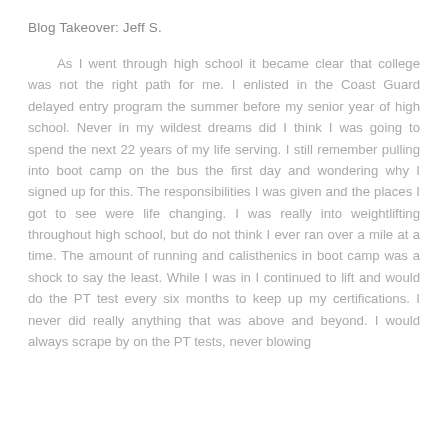Blog Takeover: Jeff S.
As I went through high school it became clear that college was not the right path for me. I enlisted in the Coast Guard delayed entry program the summer before my senior year of high school. Never in my wildest dreams did I think I was going to spend the next 22 years of my life serving. I still remember pulling into boot camp on the bus the first day and wondering why I signed up for this. The responsibilities I was given and the places I got to see were life changing. I was really into weightlifting throughout high school, but do not think I ever ran over a mile at a time. The amount of running and calisthenics in boot camp was a shock to say the least. While I was in I continued to lift and would do the PT test every six months to keep up my certifications. I never did really anything that was above and beyond. I would always scrape by on the PT tests, never blowing